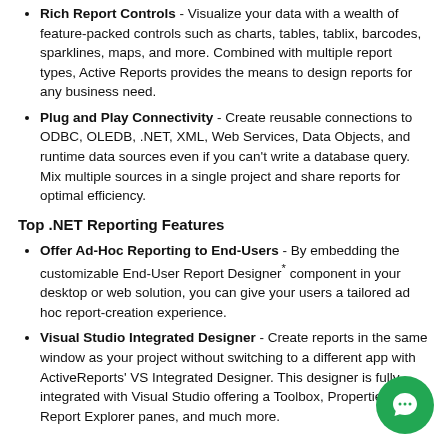Rich Report Controls - Visualize your data with a wealth of feature-packed controls such as charts, tables, tablix, barcodes, sparklines, maps, and more. Combined with multiple report types, Active Reports provides the means to design reports for any business need.
Plug and Play Connectivity - Create reusable connections to ODBC, OLEDB, .NET, XML, Web Services, Data Objects, and runtime data sources even if you can't write a database query. Mix multiple sources in a single project and share reports for optimal efficiency.
Top .NET Reporting Features
Offer Ad-Hoc Reporting to End-Users - By embedding the customizable End-User Report Designer* component in your desktop or web solution, you can give your users a tailored ad hoc report-creation experience.
Visual Studio Integrated Designer - Create reports in the same window as your project without switching to a different app with ActiveReports' VS Integrated Designer. This designer is fully integrated with Visual Studio offering a Toolbox, Properties and Report Explorer panes, and much more.